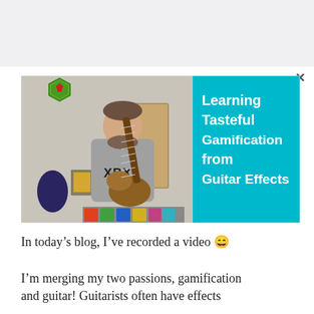[Figure (photo): Thumbnail image showing a man in an Xbox t-shirt playing an electric guitar, with a cyan/teal panel on the right side containing white bold text: 'Learning Tasteful Gamification from Guitar Effects'. There is a green hexagon badge with a red icon in the upper left of the image. A close (X) button appears to the upper right outside the image.]
In today's blog, I've recorded a video 😁
I'm merging my two passions, gamification and guitar! Guitarists often have effects